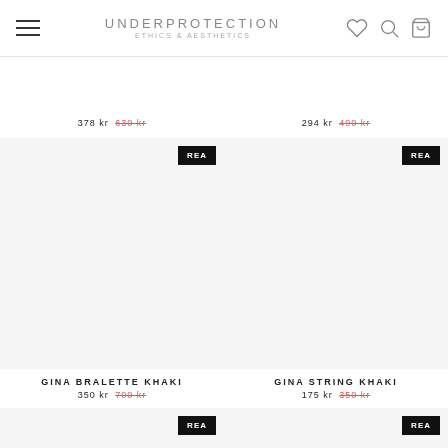UNDERPROTECTION ETHICS & AESTHETICS
378 kr 630 kr (sale)
294 kr 490 kr (sale)
GINA BRALETTE KHAKI — 350 kr 700 kr
GINA STRING KHAKI — 175 kr 350 kr